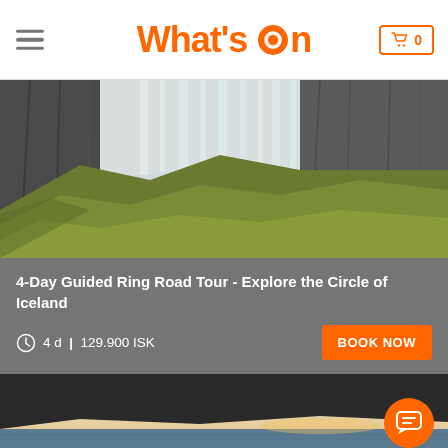What's On
[Figure (photo): Aerial view of a large Icelandic waterfall with green mossy cliffs and misty spray]
4-Day Guided Ring Road Tour - Explore the Circle of Iceland
4 d | 129.900 ISK
[Figure (photo): Coastal landscape with ocean and dramatic sky at dusk]